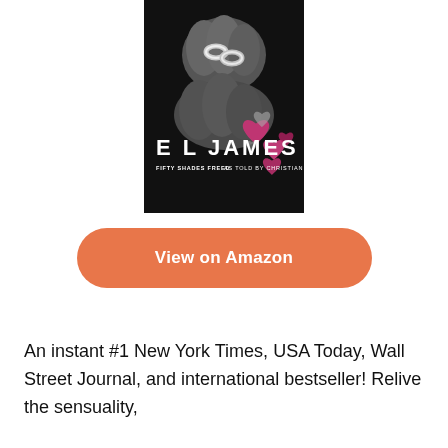[Figure (illustration): Book cover for 'Fifty Shades Freed As Told By Christian' by E L James. Dark background with close-up of two hands with interlocked silver rings, scattered pink and grey heart shapes in the lower right. Author name 'E L JAMES' in large white letters, subtitle 'FIFTY SHADES FREED AS TOLD BY CHRISTIAN' in smaller white text below.]
View on Amazon
An instant #1 New York Times, USA Today, Wall Street Journal, and international bestseller! Relive the sensuality,